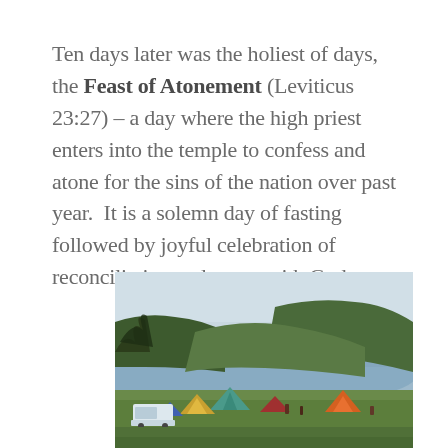Ten days later was the holiest of days, the Feast of Atonement (Leviticus 23:27) – a day where the high priest enters into the temple to confess and atone for the sins of the nation over past year.  It is a solemn day of fasting followed by joyful celebration of reconciliation and peace with God.
[Figure (photo): Outdoor camping scene with tents on a green field, a coastal cliff and hillside in the background, and an overcast sky. Trees are visible on the left side.]